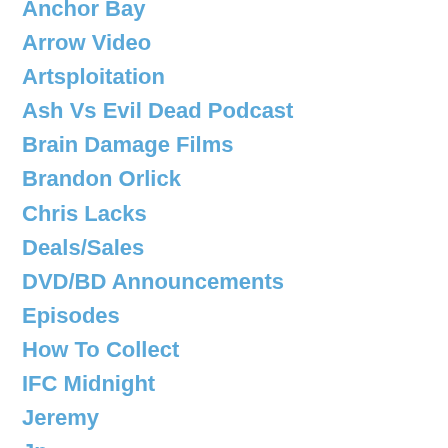Anchor Bay
Arrow Video
Artsploitation
Ash Vs Evil Dead Podcast
Brain Damage Films
Brandon Orlick
Chris Lacks
Deals/Sales
DVD/BD Announcements
Episodes
How To Collect
IFC Midnight
Jeremy
Jp
Kyle Thomas
Lionsgate
Midnight Releasing
Monstervision
Moodz
News
Olive Films